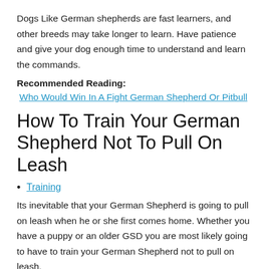Dogs Like German shepherds are fast learners, and other breeds may take longer to learn. Have patience and give your dog enough time to understand and learn the commands.
Recommended Reading:
Who Would Win In A Fight German Shepherd Or Pitbull
How To Train Your German Shepherd Not To Pull On Leash
Training
Its inevitable that your German Shepherd is going to pull on leash when he or she first comes home. Whether you have a puppy or an older GSD you are most likely going to have to train your German Shepherd not to pull on leash.